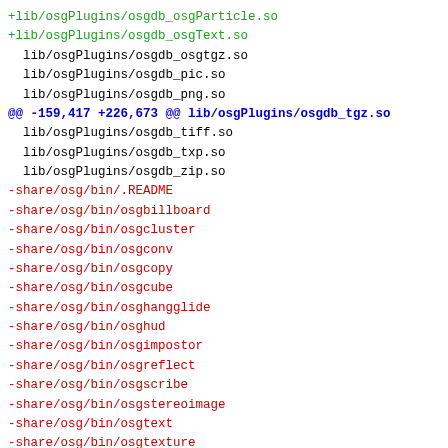+lib/osgPlugins/osgdb_osgParticle.so
+lib/osgPlugins/osgdb_osgText.so
 lib/osgPlugins/osgdb_osgtgz.so
 lib/osgPlugins/osgdb_pic.so
 lib/osgPlugins/osgdb_png.so
@@ -159,417 +226,673 @@ lib/osgPlugins/osgdb_tgz.so
 lib/osgPlugins/osgdb_tiff.so
 lib/osgPlugins/osgdb_txp.so
 lib/osgPlugins/osgdb_zip.so
-share/osg/bin/.README
-share/osg/bin/osgbillboard
-share/osg/bin/osgcluster
-share/osg/bin/osgconv
-share/osg/bin/osgcopy
-share/osg/bin/osgcube
-share/osg/bin/osghangglide
-share/osg/bin/osghud
-share/osg/bin/osgimpostor
-share/osg/bin/osgreflect
-share/osg/bin/osgscribe
-share/osg/bin/osgstereoimage
-share/osg/bin/osgtext
-share/osg/bin/osgtexture
-share/osg/bin/osgversion
-share/osg/bin/osgviews
-share/osg/bin/sgv
-share/osg/src/Make/makedefs
-share/osg/src/Make/makerules
-share/osg/src/demos/hangglide/GliderManipulator.cp
-share/osg/src/demos/hangglide/GliderManipulator.h